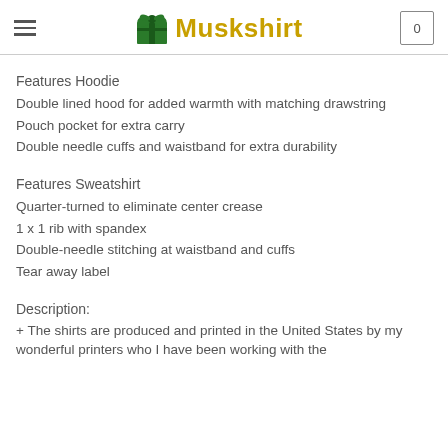Muskshirt
Features Hoodie
Double lined hood for added warmth with matching drawstring
Pouch pocket for extra carry
Double needle cuffs and waistband for extra durability
Features Sweatshirt
Quarter-turned to eliminate center crease
1 x 1 rib with spandex
Double-needle stitching at waistband and cuffs
Tear away label
Description:
+ The shirts are produced and printed in the United States by my wonderful printers who I have been working with the